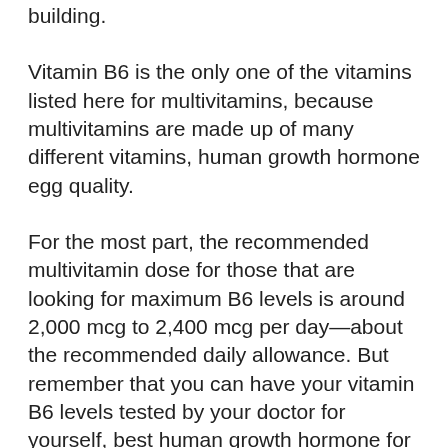building.
Vitamin B6 is the only one of the vitamins listed here for multivitamins, because multivitamins are made up of many different vitamins, human growth hormone egg quality.
For the most part, the recommended multivitamin dose for those that are looking for maximum B6 levels is around 2,000 mcg to 2,400 mcg per day—about the recommended daily allowance. But remember that you can have your vitamin B6 levels tested by your doctor for yourself, best human growth hormone for sale.
If you're not satisfied with your Vitamin B6 levels, try switching to one with at least 1,000 mcg per day or the equivalent. This would be for anyone that has a deficiency